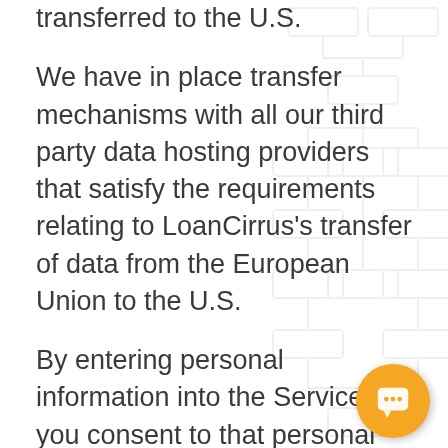transferred to the U.S.
We have in place transfer mechanisms with all our third party data hosting providers that satisfy the requirements relating to LoanCirrus's transfer of data from the European Union to the U.S.
By entering personal information into the Services, you consent to that personal information being hosted on Servers located in the U.S. While your personal information will be stored on Servers located in the U.S., it will remain within